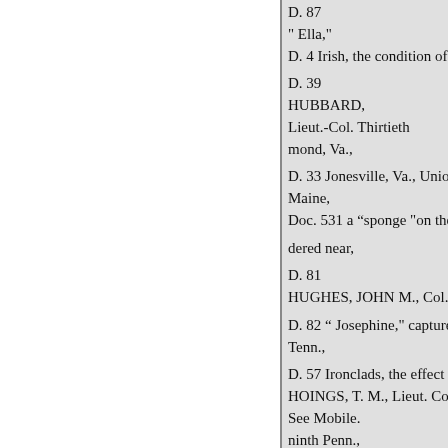D. 87
" Ella,"
D. 4 Irish, the condition of the,
D. 39
HUBBARD,
Lieut.-Col. Thirtieth
mond, Va.,
D. 33 Jonesville, Va., Union tro
Maine,
Doc. 531 a “sponge "on the Co
dered near,
D. 81
HUGHES, JOHN M., Col. Twe
D. 82 “ Josephine," capture of t
Tenn.,
D. 57 Ironclads, the effect of in
HOINGS, T. M., Lieut. Col. Fo
See Mobile.
ninth Penn.,
Doc. 162 on,
P. 9 bravery of,